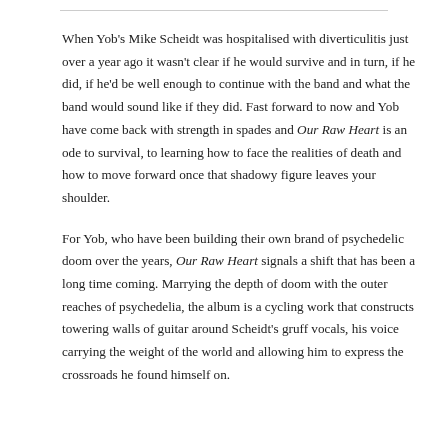When Yob's Mike Scheidt was hospitalised with diverticulitis just over a year ago it wasn't clear if he would survive and in turn, if he did, if he'd be well enough to continue with the band and what the band would sound like if they did. Fast forward to now and Yob have come back with strength in spades and Our Raw Heart is an ode to survival, to learning how to face the realities of death and how to move forward once that shadowy figure leaves your shoulder.
For Yob, who have been building their own brand of psychedelic doom over the years, Our Raw Heart signals a shift that has been a long time coming. Marrying the depth of doom with the outer reaches of psychedelia, the album is a cycling work that constructs towering walls of guitar around Scheidt's gruff vocals, his voice carrying the weight of the world and allowing him to express the crossroads he found himself on.